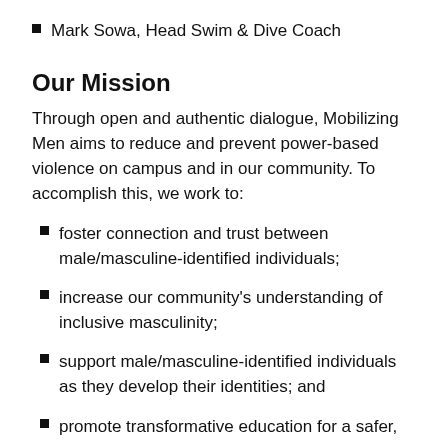Mark Sowa, Head Swim & Dive Coach
Our Mission
Through open and authentic dialogue, Mobilizing Men aims to reduce and prevent power-based violence on campus and in our community. To accomplish this, we work to:
foster connection and trust between male/masculine-identified individuals;
increase our community's understanding of inclusive masculinity;
support male/masculine-identified individuals as they develop their identities; and
promote transformative education for a safer,